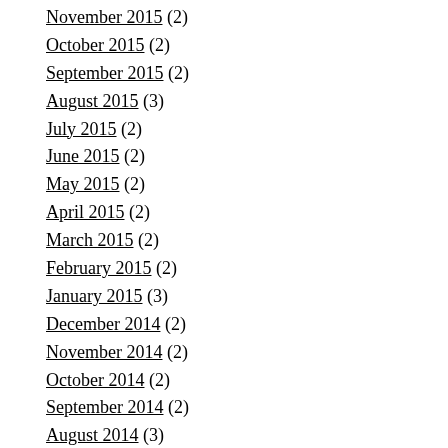November 2015 (2)
October 2015 (2)
September 2015 (2)
August 2015 (3)
July 2015 (2)
June 2015 (2)
May 2015 (2)
April 2015 (2)
March 2015 (2)
February 2015 (2)
January 2015 (3)
December 2014 (2)
November 2014 (2)
October 2014 (2)
September 2014 (2)
August 2014 (3)
July 2014 (2)
June 2014 (3)